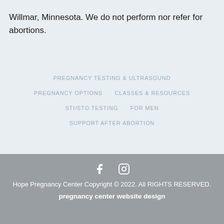Willmar, Minnesota. We do not perform nor refer for abortions.
PREGNANCY TESTING & ULTRASOUND
PREGNANCY OPTIONS
CLASSES & RESOURCES
STI/STD TESTING
FOR MEN
SUPPORT AFTER ABORTION
Hope Pregnancy Center Copyright © 2022. All RIGHTS RESERVED.
pregnancy center website design